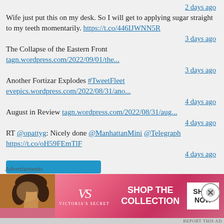2 days ago
Wife just put this on my desk. So I will get to applying sugar straight to my teeth momentarily. https://t.co/446IJWNN5R
3 days ago
The Collapse of the Eastern Front tagn.wordpress.com/2022/09/01/the...
3 days ago
Another Fortizar Explodes #TweetFleet evepics.wordpress.com/2022/08/31/ano...
4 days ago
August in Review tagn.wordpress.com/2022/08/31/aug...
4 days ago
RT @opattyg: Nicely done @ManhattanMini @Telegraph https://t.co/oH59FEmTlF
4 days ago
[Figure (screenshot): Partially visible blue button at bottom of tweet list]
Advertisements
[Figure (infographic): Victoria's Secret advertisement banner with woman's face on left, VS logo, SHOP THE COLLECTION text, and SHOP NOW button]